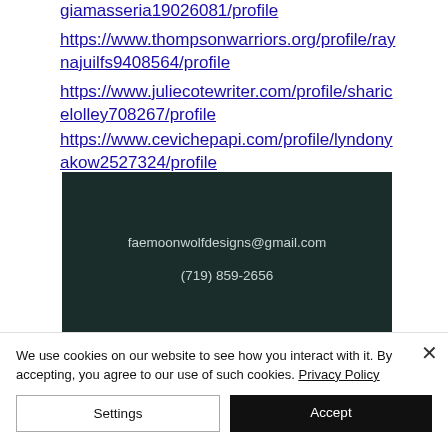giamasseria19026081/profile https://www.thompsonwarriors.org/profile/raynajuilfs9408564/profile https://www.juliecotewriter.com/profile/sharicelolley708267/profile https://www.cevichepapi.com/profile/lyndonyakow2527324/profile
[Figure (other): Dark teal/green contact info card showing email 'faemoonwolfdesigns@gmail.com' and phone '(719) 859-2656']
We use cookies on our website to see how you interact with it. By accepting, you agree to our use of such cookies. Privacy Policy
Settings
Accept